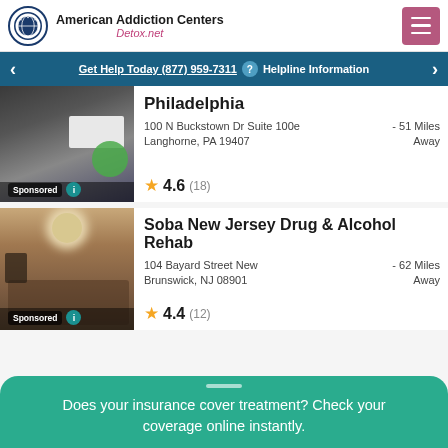American Addiction Centers Detox.net
Get Help Today (877) 959-7311 ? Helpline Information
Philadelphia
100 N Buckstown Dr Suite 100e Langhorne, PA 19407 - 51 Miles Away
4.6 (18)
Soba New Jersey Drug & Alcohol Rehab
104 Bayard Street New Brunswick, NJ 08901 - 62 Miles Away
4.4 (12)
Does your insurance cover treatment? Check your coverage online instantly.